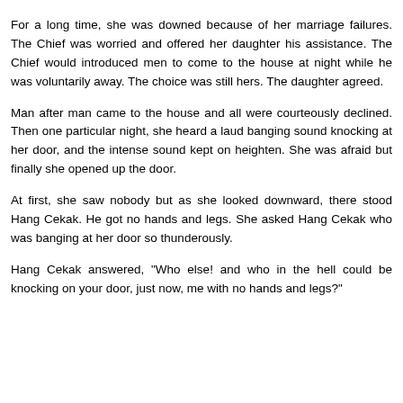husband kicked her terribly and they ended up in divorce too. He was called Hang Sepak.
For a long time, she was downed because of her marriage failures. The Chief was worried and offered her daughter his assistance. The Chief would introduced men to come to the house at night while he was voluntarily away. The choice was still hers. The daughter agreed.
Man after man came to the house and all were courteously declined. Then one particular night, she heard a laud banging sound knocking at her door, and the intense sound kept on heighten. She was afraid but finally she opened up the door.
At first, she saw nobody but as she looked downward, there stood Hang Cekak. He got no hands and legs. She asked Hang Cekak who was banging at her door so thunderously.
Hang Cekak answered, "Who else! and who in the hell could be knocking on your door, just now, me with no hands and legs?"